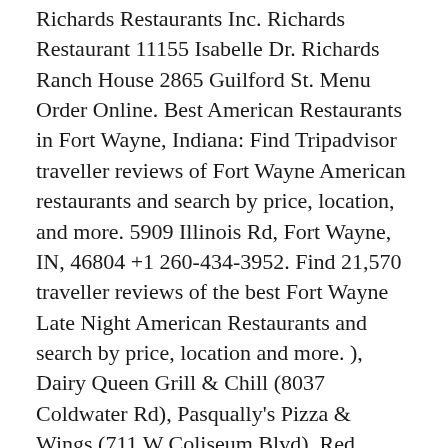Richards Restaurants Inc. Richards Restaurant 11155 Isabelle Dr. Richards Ranch House 2865 Guilford St. Menu Order Online. Best American Restaurants in Fort Wayne, Indiana: Find Tripadvisor traveller reviews of Fort Wayne American restaurants and search by price, location, and more. 5909 Illinois Rd, Fort Wayne, IN, 46804 +1 260-434-3952. Find 21,570 traveller reviews of the best Fort Wayne Late Night American Restaurants and search by price, location and more. ), Dairy Queen Grill & Chill (8037 Coldwater Rd), Pasqually's Pizza & Wings (711 W Coliseum Blvd), Red Robin Gourmet Burgers (4201 Coldwater Rd #27), The Burger Experience (1203 Apple Glen Blvd.). Closes in 1 h 0 min. Our easy-to-use app shows you all the restaurants and nightlife options in your city, along with menus, photos, and reviews. Unfortunately…", InterContinental (IHG) Hotels in Fort Wayne, Extended Stay America Hotels in Fort Wayne, Hotels with Complimentary Breakfast in Fort